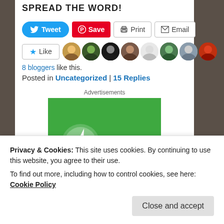SPREAD THE WORD!
Tweet | Save | Print | Email
[Figure (other): Social sharing buttons: Tweet (blue), Save (red Pinterest), Print (outlined), Email (outlined)]
[Figure (other): Like button with star icon and 8 blogger avatars in a row]
8 bloggers like this.
Posted in Uncategorized | 15 Replies
Advertisements
[Figure (logo): Jetpack advertisement - green background with Jetpack logo and text]
Privacy & Cookies: This site uses cookies. By continuing to use this website, you agree to their use.
To find out more, including how to control cookies, see here: Cookie Policy
Close and accept